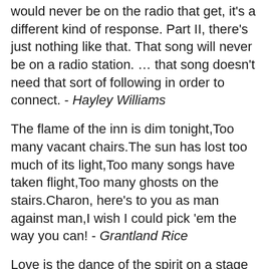would never be on the radio that get, it's a different kind of response. Part II, there's just nothing like that. That song will never be on a radio station. … that song doesn't need that sort of following in order to connect. - Hayley Williams
The flame of the inn is dim tonight,Too many vacant chairs.The sun has lost too much of its light,Too many songs have taken flight,Too many ghosts on the stairs.Charon, here's to you as man against man,I wish I could pick 'em the way you can! - Grantland Rice
Love is the dance of the spirit on a stage called heart with the songs of mind to